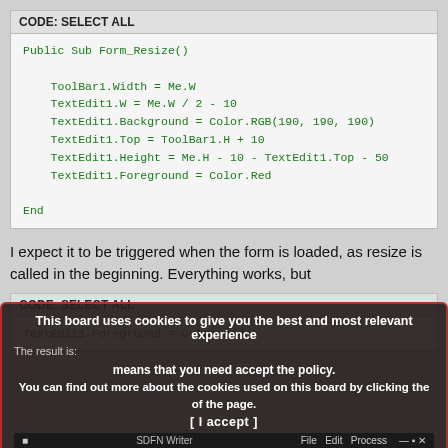[Figure (screenshot): Code block with header 'CODE: SELECT ALL' containing Visual Basic code for Form_Resize subroutine]
I expect it to be triggered when the form is loaded, as resize is called in the beginning. Everything works, but
[Figure (screenshot): Code block with header 'CODE: SELECT ALL' containing 'TextEdit1.Foreground = Color.Red']
This board uses cookies to give you the best and most relevant experience means that you need accept the policy. You can find out more about the cookies used on this board by clicking the of the page. [ I accept ]